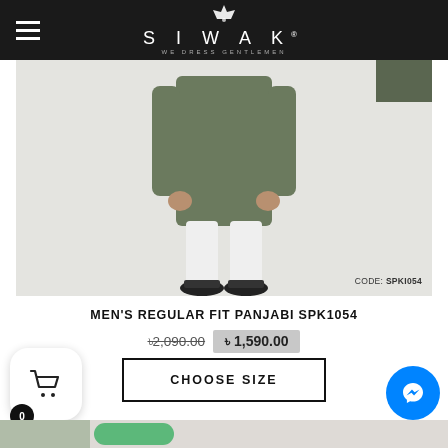SIWAK — We dress gentlemen
[Figure (photo): Man wearing olive/khaki long kurta panjabi with white pants and black sandals, standing against light grey background. A dark olive fabric swatch in top right. Code label: CODE: SPKI054.]
MEN'S REGULAR FIT PANJABI SPK1054
৳2,090.00  ৳1,590.00
CHOOSE SIZE